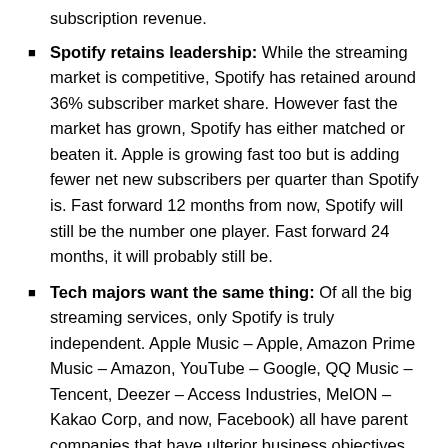subscription revenue.
Spotify retains leadership: While the streaming market is competitive, Spotify has retained around 36% subscriber market share. However fast the market has grown, Spotify has either matched or beaten it. Apple is growing fast too but is adding fewer net new subscribers per quarter than Spotify is. Fast forward 12 months from now, Spotify will still be the number one player. Fast forward 24 months, it will probably still be.
Tech majors want the same thing: Of all the big streaming services, only Spotify is truly independent. Apple Music – Apple, Amazon Prime Music – Amazon, YouTube – Google, QQ Music – Tencent, Deezer – Access Industries, MelON – Kakao Corp, and now, Facebook) all have parent companies that have ulterior business objectives with music streaming. None of